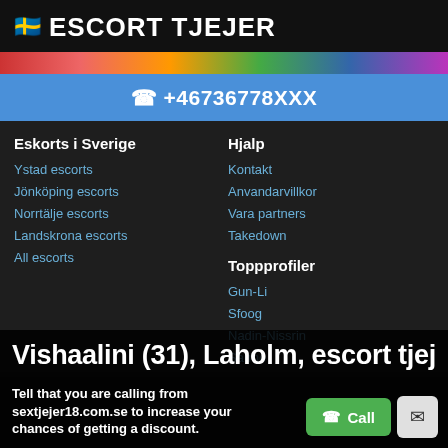🇸🇪 ESCORT TJEJER
+46736778XXX
Eskorts i Sverige
Ystad escorts
Jönköping escorts
Norrtälje escorts
Landskrona escorts
All escorts
Hjalp
Kontakt
Anvandarvillkor
Vara partners
Takedown
Toppprofiler
Gun-Li
Sfoog
Nadin-Nissrin
Sarmo
Vishaalini (31), Laholm, escort tjej
Tell that you are calling from sextjejer18.com.se to increase your chances of getting a discount.